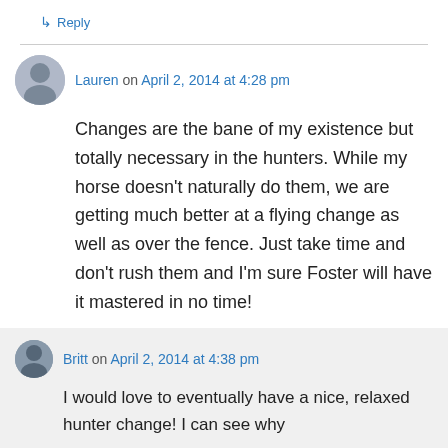↳ Reply
Lauren on April 2, 2014 at 4:28 pm
Changes are the bane of my existence but totally necessary in the hunters. While my horse doesn't naturally do them, we are getting much better at a flying change as well as over the fence. Just take time and don't rush them and I'm sure Foster will have it mastered in no time!
↳ Reply
Britt on April 2, 2014 at 4:38 pm
I would love to eventually have a nice, relaxed hunter change! I can see why